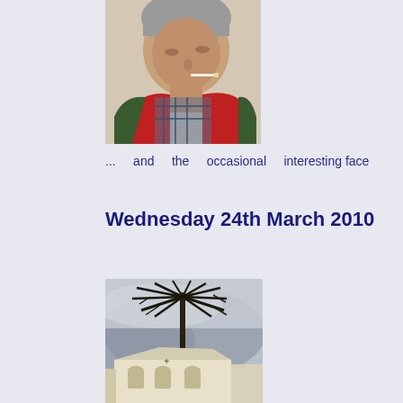[Figure (photo): Close-up portrait of an elderly man with grey hair, looking downward, wearing a red and dark green vest over a plaid shirt, with a cigarette in his mouth. Background is a light beige wall.]
... and the occasional interesting face
Wednesday 24th March 2010
[Figure (photo): Outdoor scene showing a tall dark palm tree silhouetted against a grey cloudy sky with misty mountains behind. Below is a white/cream building with arched windows and a decorative star, with other buildings visible to the right.]